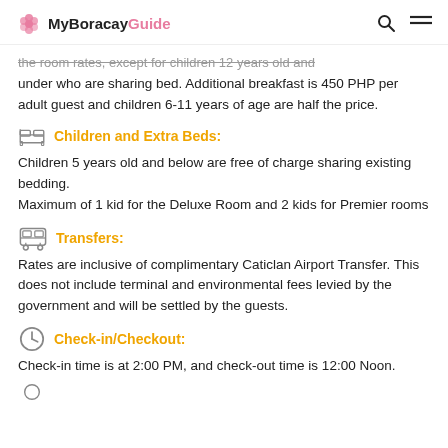MyBoracayGuide
the room rates, except for children 12 years old and under who are sharing bed. Additional breakfast is 450 PHP per adult guest and children 6-11 years of age are half the price.
Children and Extra Beds:
Children 5 years old and below are free of charge sharing existing bedding.
Maximum of 1 kid for the Deluxe Room and 2 kids for Premier rooms
Transfers:
Rates are inclusive of complimentary Caticlan Airport Transfer. This does not include terminal and environmental fees levied by the government and will be settled by the guests.
Check-in/Checkout:
Check-in time is at 2:00 PM, and check-out time is 12:00 Noon.